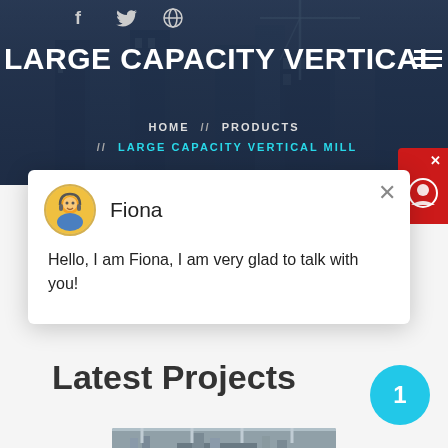[Figure (screenshot): Dark blue construction/city skyline background image with cranes and buildings visible]
Social media icons: Facebook, Twitter, Dribbble
LARGE CAPACITY VERTICAL MIL
HOME // PRODUCTS // LARGE CAPACITY VERTICAL MILL
[Figure (screenshot): Chat popup with avatar of Fiona. Name: Fiona. Message: Hello, I am Fiona, I am very glad to talk with you! Close X button in top right.]
Latest Projects
[Figure (photo): Industrial machinery/mill equipment image at bottom of page]